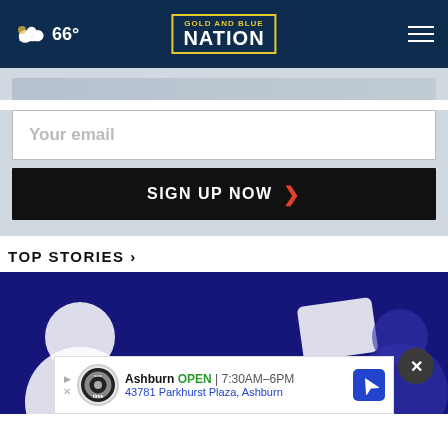66° Gold and Blue Nation
Your email
SIGN UP NOW
TOP STORIES ›
[Figure (screenshot): Dark blue background image with abstract white shapes/silhouettes, part of a news website article]
Ashburn OPEN | 7:30AM–6PM 43781 Parkhurst Plaza, Ashburn